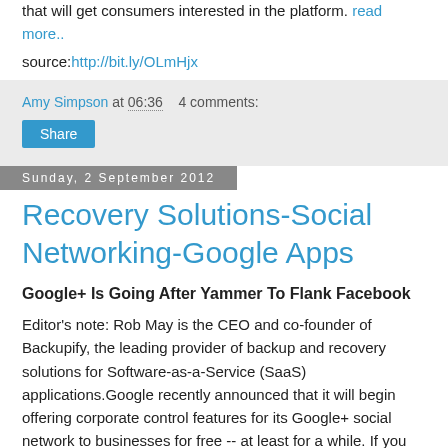that will get consumers interested in the platform. read more..
source: http://bit.ly/OLmHjx
Amy Simpson at 06:36   4 comments:
Share
Sunday, 2 September 2012
Recovery Solutions-Social Networking-Google Apps
Google+ Is Going After Yammer To Flank Facebook
Editor's note: Rob May is the CEO and co-founder of Backupify, the leading provider of backup and recovery solutions for Software-as-a-Service (SaaS) applications.Google recently announced that it will begin offering corporate control features for its Google+ social network to businesses for free -- at least for a while. If you